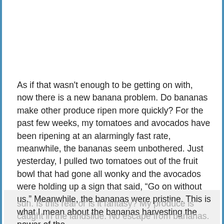As if that wasn't enough to be getting on with, now there is a new banana problem. Do bananas make other produce ripen more quickly? For the past few weeks, my tomatoes and avocados have been ripening at an alarmingly fast rate, meanwhile, the bananas seem unbothered. Just yesterday, I pulled two tomatoes out of the fruit bowl that had gone all wonky and the avocados were holding up a sign that said, “Go on without us.” Meanwhile, the bananas were pristine. This is what I mean about the bananas harvesting the power of the
sun. Is this real or is it fantasy? My produce is caught in the landslide. No escape from bananas.